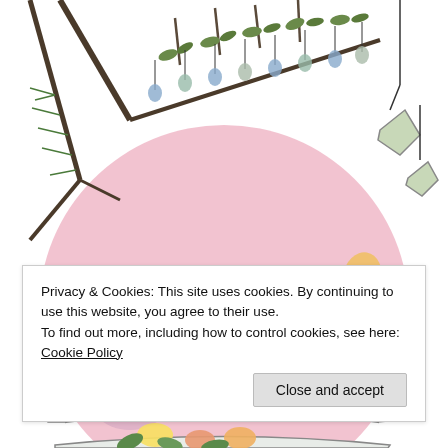[Figure (illustration): Decorative wedding illustration showing olive branches with hanging string lights and ornaments at the top, a large pink circular background with ribbon banners reading 'KEIRA and DANIEL GET' (partially visible), purple and peach flowers, a small blue bird, and floral/botanical decorative elements in a tattoo-style illustration style.]
Privacy & Cookies: This site uses cookies. By continuing to use this website, you agree to their use.
To find out more, including how to control cookies, see here: Cookie Policy
Close and accept